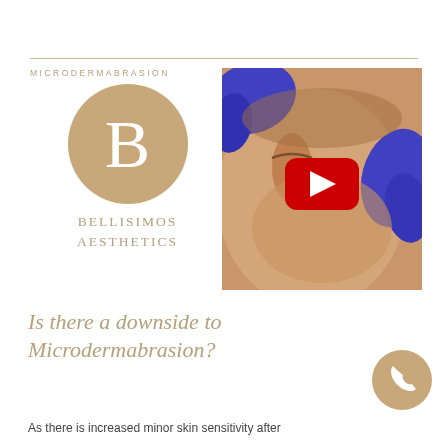[Figure (logo): Bellisimos Aesthetics logo: gold circle with white letter B, brand name below in gold uppercase spaced letters, with 'MICRODERMABRASION' label above in small caps]
[Figure (screenshot): Video thumbnail showing a woman receiving a facial skin treatment (microdermabrasion) by a practitioner wearing blue gloves, with a red YouTube play button overlay centered on the image]
Is there a downside to Microdermabrasion?
As there is increased minor skin sensitivity after